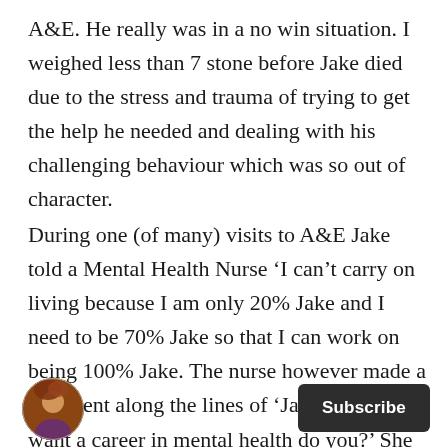A&E. He really was in a no win situation. I weighed less than 7 stone before Jake died due to the stress and trauma of trying to get the help he needed and dealing with his challenging behaviour which was so out of character.
During one (of many) visits to A&E Jake told a Mental Health Nurse ‘I can’t carry on living because I am only 20% Jake and I need to be 70% Jake so that I can work on being 100% Jake. The nurse however made a comment along the lines of ‘Jake you don’t want a career in mental health do you?’ She then commented on how articulate Jake was and
[Figure (photo): Circular avatar photo of a person with reddish-brown hair]
Subscribe